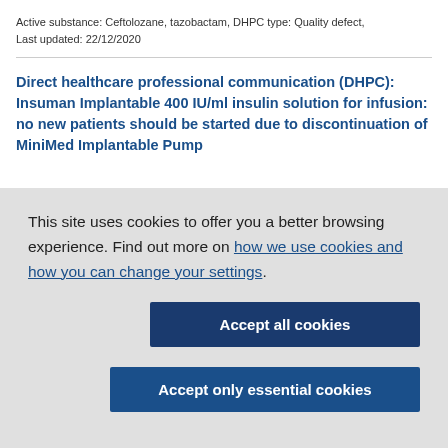Active substance: Ceftolozane, tazobactam, DHPC type: Quality defect, Last updated: 22/12/2020
Direct healthcare professional communication (DHPC): Insuman Implantable 400 IU/ml insulin solution for infusion: no new patients should be started due to discontinuation of MiniMed Implantable Pump
This site uses cookies to offer you a better browsing experience. Find out more on how we use cookies and how you can change your settings.
Accept all cookies
Accept only essential cookies